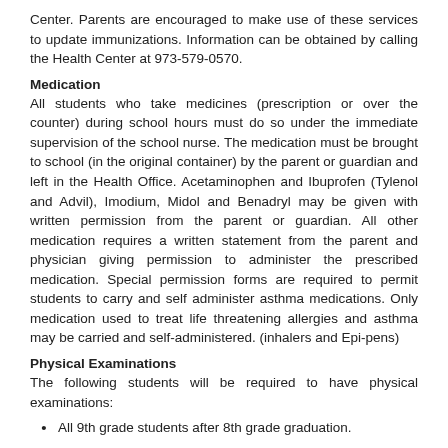Center. Parents are encouraged to make use of these services to update immunizations. Information can be obtained by calling the Health Center at 973-579-0570.
Medication
All students who take medicines (prescription or over the counter) during school hours must do so under the immediate supervision of the school nurse. The medication must be brought to school (in the original container) by the parent or guardian and left in the Health Office. Acetaminophen and Ibuprofen (Tylenol and Advil), Imodium, Midol and Benadryl may be given with written permission from the parent or guardian. All other medication requires a written statement from the parent and physician giving permission to administer the prescribed medication. Special permission forms are required to permit students to carry and self administer asthma medications. Only medication used to treat life threatening allergies and asthma may be carried and self-administered. (inhalers and Epi-pens)
Physical Examinations
The following students will be required to have physical examinations:
All 9th grade students after 8th grade graduation.
All students who wish to participate in the sports program at High Point Regional High School,
All students participating in cheerleading or the weightlifting program at High Point Regional High School,
Any student for whom physicals are warranted and/or